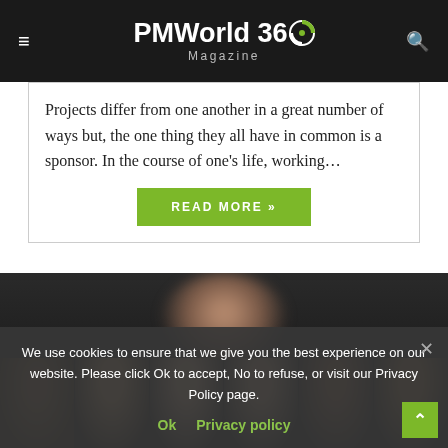PMWorld 360 Magazine
Projects differ from one another in a great number of ways but, the one thing they all have in common is a sponsor. In the course of one's life, working...
READ MORE »
[Figure (photo): Cookie consent banner overlaying a photo strip of diverse professionals' faces and a blurred background of a person]
We use cookies to ensure that we give you the best experience on our website. Please click Ok to accept, No to refuse, or visit our Privacy Policy page.
Ok   Privacy policy